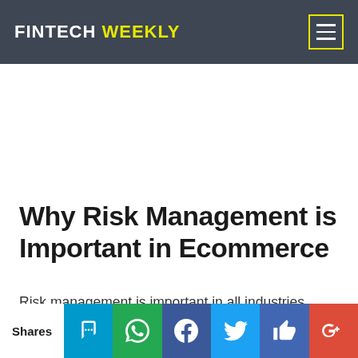FINTECH WEEKLY
Why Risk Management is Important in Ecommerce
Risk management is important in all industries. Ecommerce is no exception. Not only does it allow